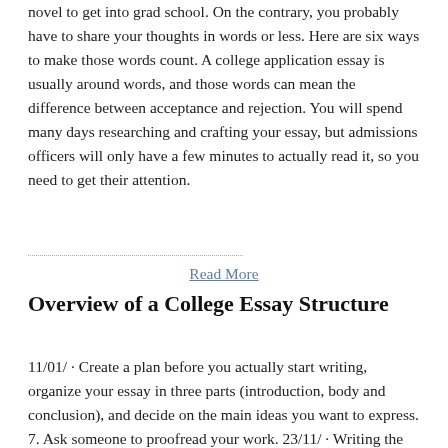novel to get into grad school. On the contrary, you probably have to share your thoughts in words or less. Here are six ways to make those words count. A college application essay is usually around words, and those words can mean the difference between acceptance and rejection. You will spend many days researching and crafting your essay, but admissions officers will only have a few minutes to actually read it, so you need to get their attention.
Read More
Overview of a College Essay Structure
11/01/ · Create a plan before you actually start writing, organize your essay in three parts (introduction, body and conclusion), and decide on the main ideas you want to express. 7. Ask someone to proofread your work. 23/11/ · Writing the beginning of your essay may be the most challenging part of the writing